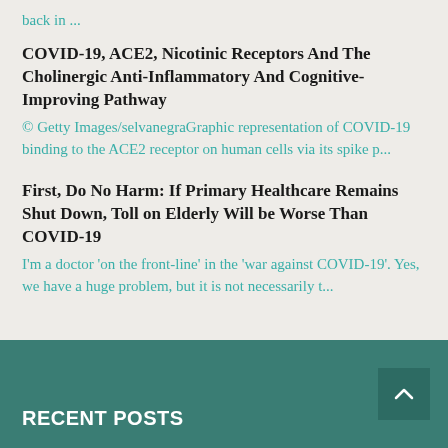back in ...
COVID-19, ACE2, Nicotinic Receptors And The Cholinergic Anti-Inflammatory And Cognitive-Improving Pathway
© Getty Images/selvanegraGraphic representation of COVID-19 binding to the ACE2 receptor on human cells via its spike p...
First, Do No Harm: If Primary Healthcare Remains Shut Down, Toll on Elderly Will be Worse Than COVID-19
I'm a doctor 'on the front-line' in the 'war against COVID-19'. Yes, we have a huge problem, but it is not necessarily t...
RECENT POSTS